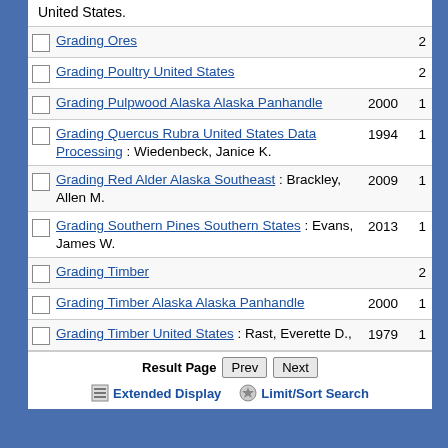United States.
Grading Ores  2
Grading Poultry United States  2
Grading Pulpwood Alaska Alaska Panhandle  2000  1
Grading Quercus Rubra United States Data Processing : Wiedenbeck, Janice K.  1994  1
Grading Red Alder Alaska Southeast : Brackley, Allen M.  2009  1
Grading Southern Pines Southern States : Evans, James W.  2013  1
Grading Timber  2
Grading Timber Alaska Alaska Panhandle  2000  1
Grading Timber United States : Rast, Everette D.,  1979  1
Result Page  Prev  Next
Extended Display  Limit/Sort Search